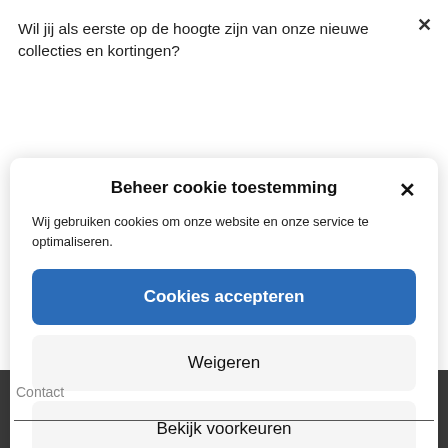Wil jij als eerste op de hoogte zijn van onze nieuwe collecties en kortingen?
Beheer cookie toestemming
Wij gebruiken cookies om onze website en onze service te optimaliseren.
Cookies accepteren
Weigeren
Bekijk voorkeuren
Cookiebeleid  Privacy Policy
Contact